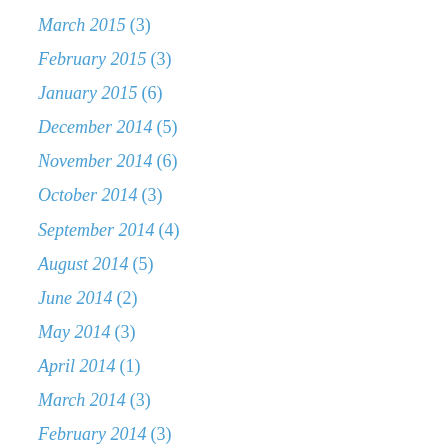March 2015 (3)
February 2015 (3)
January 2015 (6)
December 2014 (5)
November 2014 (6)
October 2014 (3)
September 2014 (4)
August 2014 (5)
June 2014 (2)
May 2014 (3)
April 2014 (1)
March 2014 (3)
February 2014 (3)
January 2014 (1)
December 2013 (4)
November 2013 (8)
October 2013 (9)
September 2013 (8)
August 2013 (5)
July 2013 (11)